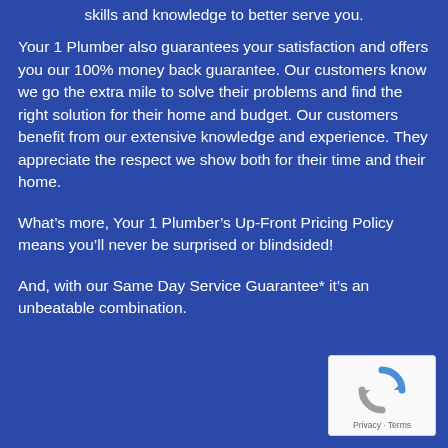skills and knowledge to better serve you.
Your 1 Plumber also guarantees your satisfaction and offers you our 100% money back guarantee. Our customers know we go the extra mile to solve their problems and find the right solution for their home and budget. Our customers benefit from our extensive knowledge and experience. They appreciate the respect we show both for their time and their home.
What’s more, Your 1 Plumber’s Up-Front Pricing Policy means you’ll never be surprised or blindsided!
And, with our Same Day Service Guarantee* it’s an unbeatable combination.
[Figure (logo): reCAPTCHA badge with spinning arrows logo icon and Privacy - Terms text]